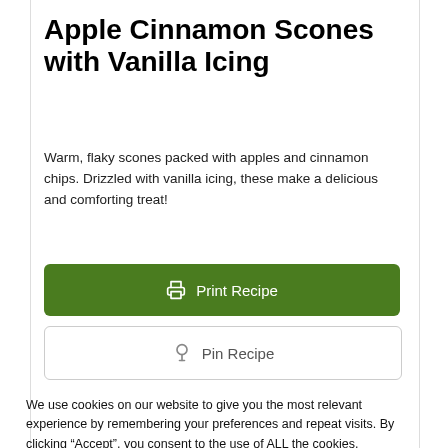[Figure (photo): Partial top image strip of food/scones at top of page]
Apple Cinnamon Scones with Vanilla Icing
Warm, flaky scones packed with apples and cinnamon chips. Drizzled with vanilla icing, these make a delicious and comforting treat!
[Figure (other): Green 'Print Recipe' button with printer icon]
[Figure (other): White 'Pin Recipe' button with Pinterest icon]
We use cookies on our website to give you the most relevant experience by remembering your preferences and repeat visits. By clicking “Accept”, you consent to the use of ALL the cookies.
Do not sell my personal information.
[Figure (photo): Pure Earth advertisement banner: 'We believe the global pollution crisis can be solved.' with text about pollution and JOIN US call to action and Pure Earth logo]